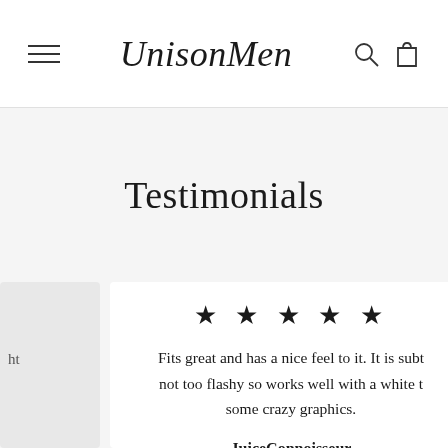UnisonMen
Testimonials
★★★★★
Fits great and has a nice feel to it. It is subt not too flashy so works well with a white t some crazy graphics.
JuiceConnoisseur
Washington, DC